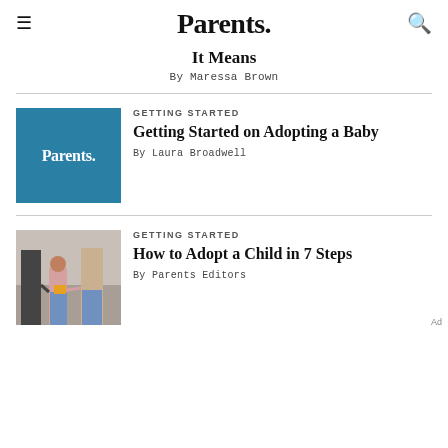Parents.
It Means
By Maressa Brown
[Figure (logo): Parents. logo on blue background]
GETTING STARTED
Getting Started on Adopting a Baby
By Laura Broadwell
[Figure (photo): Young girl with braids holding hands with two adults walking on cobblestone street, viewed from behind]
GETTING STARTED
How to Adopt a Child in 7 Steps
By Parents Editors